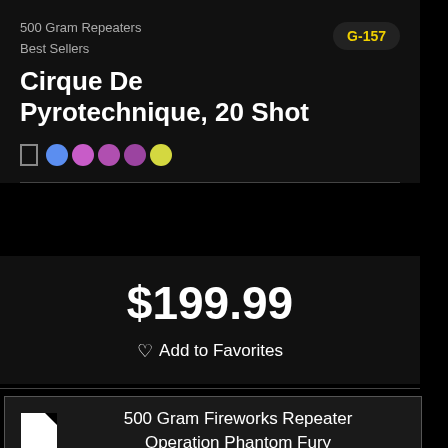500 Gram Repeaters
Best Sellers
Cirque De Pyrotechnique, 20 Shot
G-157
$199.99
Add to Favorites
500 Gram Fireworks Repeater Operation Phantom Fury